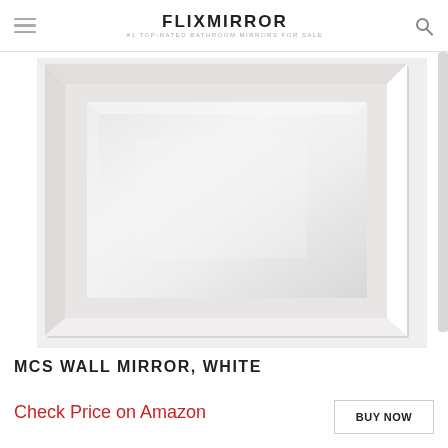FLIXMIRROR #1 TOP-RATED BATHROOM MIRRORS FOR SALE
[Figure (photo): White framed wall mirror with beveled rectangular mirror surface, wide white decorative frame with layered molding detail]
MCS WALL MIRROR, WHITE
Check Price on Amazon
BUY NOW